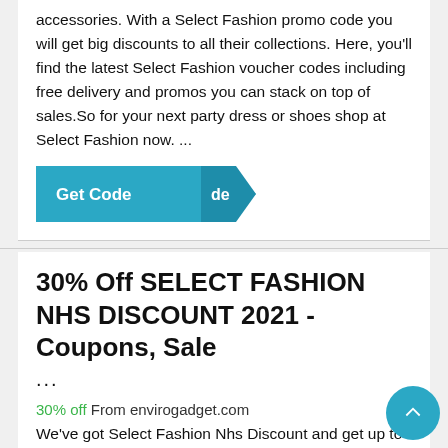accessories. With a Select Fashion promo code you will get big discounts to all their collections. Here, you'll find the latest Select Fashion voucher codes including free delivery and promos you can stack on top of sales.So for your next party dress or shoes shop at Select Fashion now. ...
[Figure (other): A teal 'Get Code' button with an arrow/chevron shape on the right side]
30% Off SELECT FASHION NHS DISCOUNT 2021 - Coupons, Sale ...
30% off From envirogadget.com
We've got Select Fashion Nhs Discount and get up to 30% Off . Join with a 30-Day Free Trial. Discover our free student discount deals and offers. Also enjoy $10 cash back on your next